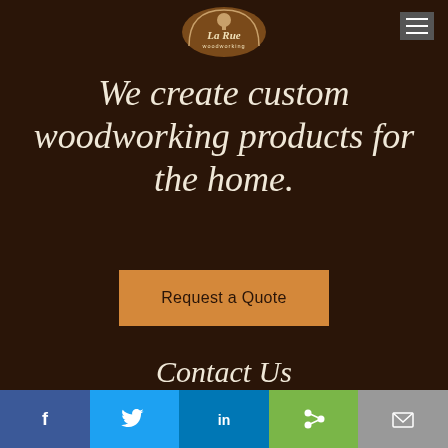[Figure (logo): La Rue Woodworking logo with tree icon inside arch shape]
[Figure (other): Hamburger menu icon (three horizontal lines) on dark grey background]
We create custom woodworking products for the home.
Request a Quote
Contact Us
Phone: 518-265-4179
[Figure (other): Social sharing bar with Facebook, Twitter, LinkedIn, Share, and Email buttons]